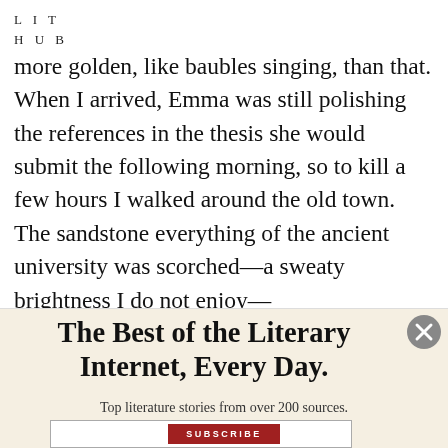LIT HUB
more golden, like baubles singing, than that. When I arrived, Emma was still polishing the references in the thesis she would submit the following morning, so to kill a few hours I walked around the old town. The sandstone everything of the ancient university was scorched—a sweaty brightness I do not enjoy—
The Best of the Literary Internet, Every Day.
Top literature stories from over 200 sources.